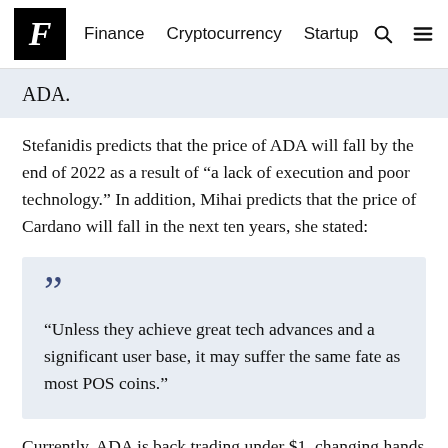F  Finance  Cryptocurrency  Startup
ADA.
Stefanidis predicts that the price of ADA will fall by the end of 2022 as a result of “a lack of execution and poor technology.” In addition, Mihai predicts that the price of Cardano will fall in the next ten years, she stated:
“Unless they achieve great tech advances and a significant user base, it may suffer the same fate as most POS coins.”
Currently, ADA is back trading under $1, changing hands at